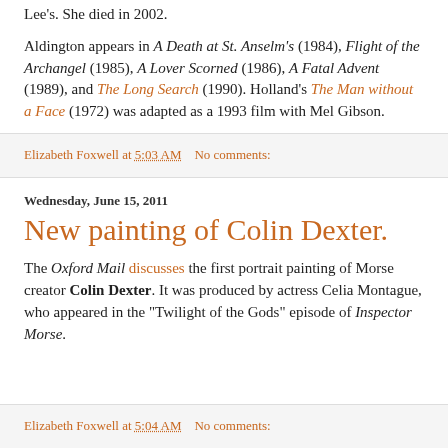Lee's. She died in 2002.
Aldington appears in A Death at St. Anselm's (1984), Flight of the Archangel (1985), A Lover Scorned (1986), A Fatal Advent (1989), and The Long Search (1990). Holland's The Man without a Face (1972) was adapted as a 1993 film with Mel Gibson.
Elizabeth Foxwell at 5:03 AM   No comments:
Wednesday, June 15, 2011
New painting of Colin Dexter.
The Oxford Mail discusses the first portrait painting of Morse creator Colin Dexter. It was produced by actress Celia Montague, who appeared in the "Twilight of the Gods" episode of Inspector Morse.
Elizabeth Foxwell at 5:04 AM   No comments: